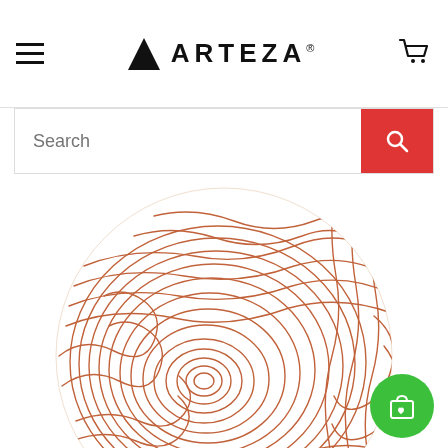[Figure (logo): Arteza brand logo with triangle icon and bold uppercase ARTEZA text with registered trademark symbol]
[Figure (screenshot): E-commerce website header with hamburger menu, Arteza logo, cart icon, and search bar with red search button]
[Figure (illustration): Circular illustration of wood grain / tree ring pattern drawn in rust/copper color lines on white background, resembling a fingerprint or topographic map]